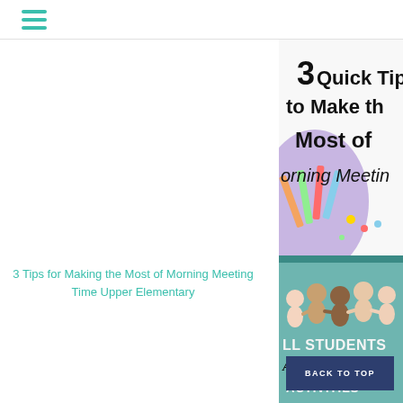[Figure (illustration): Cropped image showing '3 Quick Tips to Make the Most of Morning Meeting' text with illustrated school supplies on a colorful background]
3 Tips for Making the Most of Morning Meeting Time Upper Elementary
[Figure (illustration): Cropped image showing paper chain figures of diverse students with text 'ALL STUDENTS Are Welcome ACTIVITIES' on teal background]
BACK TO TOP